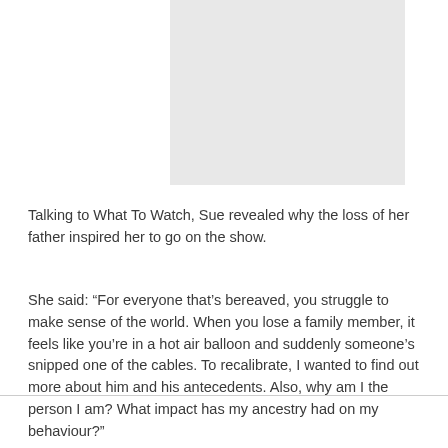[Figure (photo): A light grey rectangular image placeholder at the top of the page]
Talking to What To Watch, Sue revealed why the loss of her father inspired her to go on the show.
She said: “For everyone that’s bereaved, you struggle to make sense of the world. When you lose a family member, it feels like you’re in a hot air balloon and suddenly someone’s snipped one of the cables. To recalibrate, I wanted to find out more about him and his antecedents. Also, why am I the person I am? What impact has my ancestry had on my behaviour?”